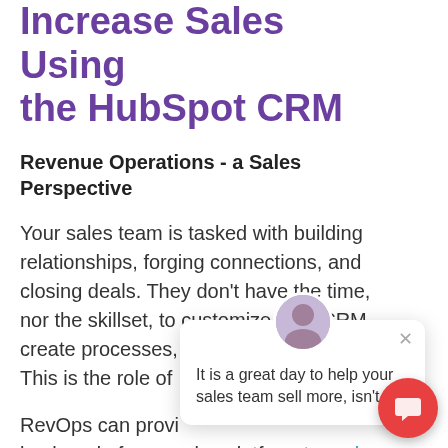Increase Sales Using the HubSpot CRM
Revenue Operations - a Sales Perspective
Your sales team is tasked with building relationships, forging connections, and closing deals. They don't have the time, nor the skillset, to customize your CRM, create processes, ... This is the role of ...
RevOps can provi... back end of your sales platform to rank and prioritize the leads that are most likely to close. Your RevOps team/agency...
[Figure (other): Chat popup with avatar photo of a woman, close button (×), and message text: 'It is a great day to help your sales team sell more, isn't it?']
[Figure (other): Red circular chat button with speech bubble icon in the bottom right corner]